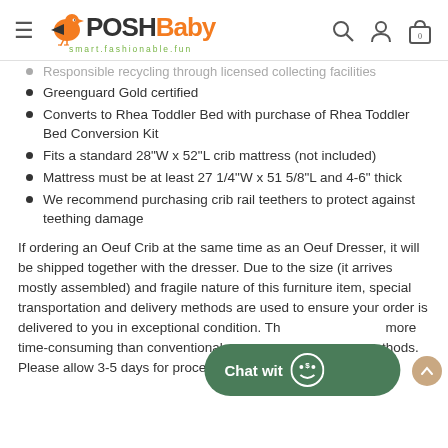PoshBaby — smart.fashionable.fun
Responsible recycling through licensed collecting facilities
Greenguard Gold certified
Converts to Rhea Toddler Bed with purchase of Rhea Toddler Bed Conversion Kit
Fits a standard 28"W x 52"L crib mattress (not included)
Mattress must be at least 27 1/4"W x 51 5/8"L and 4-6" thick
We recommend purchasing crib rail teethers to protect against teething damage
If ordering an Oeuf Crib at the same time as an Oeuf Dresser, it will be shipped together with the dresser. Due to the size (it arrives mostly assembled) and fragile nature of this furniture item, special transportation and delivery methods are used to ensure your order is delivered to you in exceptional condition. Th more time-consuming than conventional sm methods. Please allow 3-5 days for processing, and 2-4 weeks for delivery.